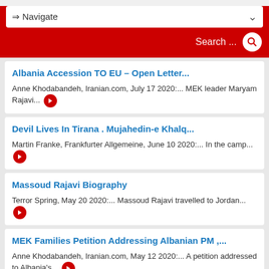Navigate / Search
Albania Accession TO EU – Open Letter... Anne Khodabandeh, Iranian.com, July 17 2020:... MEK leader Maryam Rajavi...
Devil Lives In Tirana . Mujahedin-e Khalq... Martin Franke, Frankfurter Allgemeine, June 10 2020:... In the camp...
Massoud Rajavi Biography Terror Spring, May 20 2020:... Massoud Rajavi travelled to Jordan...
MEK Families Petition Addressing Albanian PM ,... Anne Khodabandeh, Iranian.com, May 12 2020:... A petition addressed to Albania's...
MEK cult in Albania poses public health